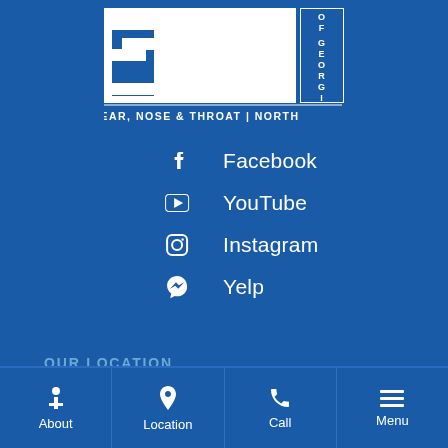[Figure (logo): ENT of Georgia logo — large white block letters 'ENT' with 'OF GEORGIA' vertically on right side, subtitle 'EAR, NOSE & THROAT | NORTH' below]
Facebook
YouTube
Instagram
Yelp
OUR LOCATION
About
Location
Call
Menu